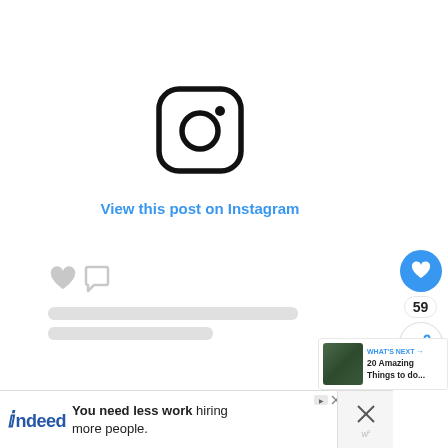[Figure (logo): Instagram logo icon - rounded square with camera outline and circle inside, black on white]
View this post on Instagram
[Figure (infographic): Social media engagement bar - like heart icon and comment bubble icon in grey, loading placeholder bars below]
[Figure (infographic): Right sidebar with blue heart like button showing count 59, and share button below]
[Figure (infographic): What's next panel with thumbnail and text: 20 Amazing Things to do...]
[Figure (screenshot): Indeed advertisement banner: You need less work hiring more people.]